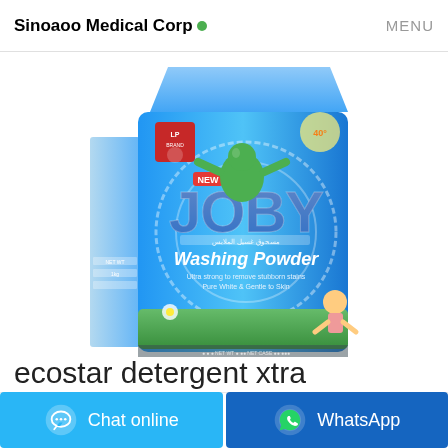Sinoaoo Medical Corp MENU
[Figure (photo): Photo of Joby Washing Powder (Ecostar detergent xtra performance) product bag — blue bag with a cartoon character and text 'NEW JOBY Washing Powder']
ecostar detergent xtra performance hong kong
Chat online
WhatsApp